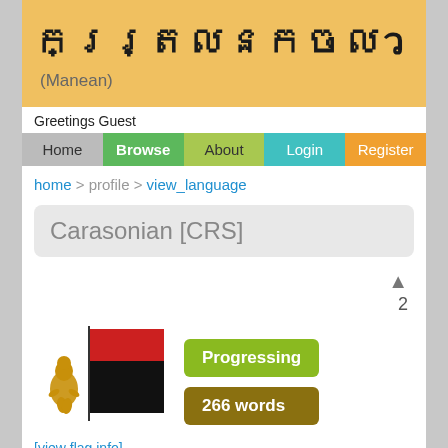ករ្ត្រលនកចលว (Manean)
Greetings Guest
Home
Browse
About
Login
Register
home > profile > view_language
Carasonian [CRS]
▲
2
[Figure (illustration): Flag of Carasonian language - a flag with red top band and black bottom band, with a small golden creature figure to the left]
Progressing
266 words
[view flag info]
Carasonian
Carasi [karatsi]*